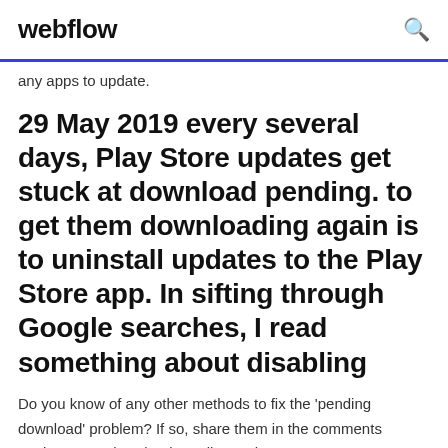webflow
any apps to update.
29 May 2019 every several days, Play Store updates get stuck at download pending. to get them downloading again is to uninstall updates to the Play Store app. In sifting through Google searches, I read something about disabling
Do you know of any other methods to fix the 'pending download' problem? If so, share them in the comments  getting error "download pending " whenever I try to download/update